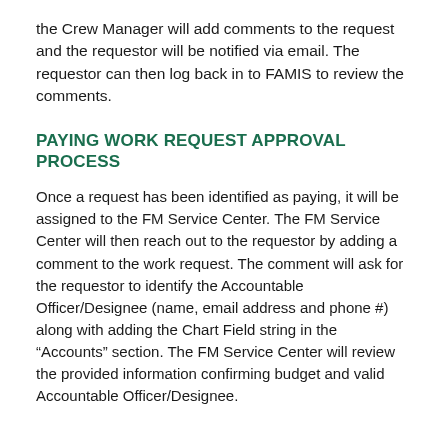the Crew Manager will add comments to the request and the requestor will be notified via email. The requestor can then log back in to FAMIS to review the comments.
PAYING WORK REQUEST APPROVAL PROCESS
Once a request has been identified as paying, it will be assigned to the FM Service Center. The FM Service Center will then reach out to the requestor by adding a comment to the work request. The comment will ask for the requestor to identify the Accountable Officer/Designee (name, email address and phone #) along with adding the Chart Field string in the “Accounts” section. The FM Service Center will review the provided information confirming budget and valid Accountable Officer/Designee.